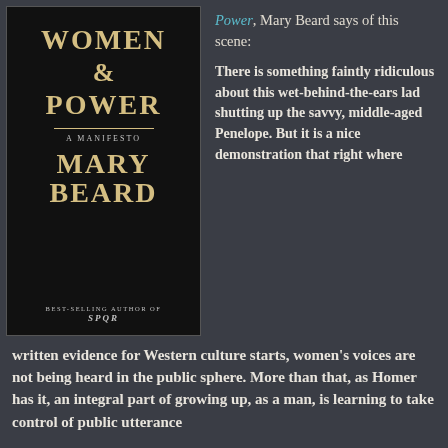[Figure (photo): Book cover of 'Women & Power: A Manifesto' by Mary Beard, best-selling author of SPQR. Black background with gold serif text.]
Power, Mary Beard says of this scene:
There is something faintly ridiculous about this wet-behind-the-ears lad shutting up the savvy, middle-aged Penelope.  But it is a nice demonstration that right where written evidence for Western culture starts, women's voices are not being heard in the public sphere.  More than that, as Homer has it, an integral part of growing up, as a man, is learning to take control of public utterance